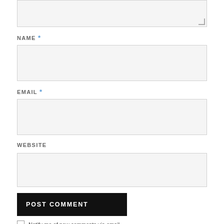[Figure (screenshot): Top portion of a comment form textarea (partially visible at top of page)]
NAME *
[Figure (screenshot): Name input field — empty text input box with light gray background]
EMAIL *
[Figure (screenshot): Email input field — empty text input box with light gray background]
WEBSITE
[Figure (screenshot): Website input field — empty text input box with light gray background]
POST COMMENT
Notify me of new comments via email.